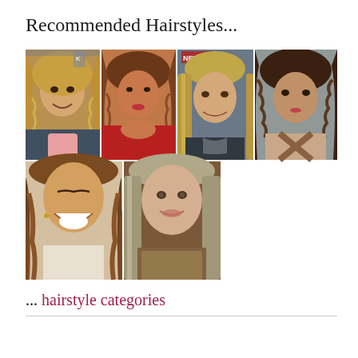Recommended Hairstyles...
[Figure (photo): Grid of 6 celebrity hairstyle photos arranged in two rows. Top row has 4 photos: a woman with long wavy blonde hair, a woman with wavy brown hair in red dress, a woman with straight blonde highlighted hair, and a woman with curly dark hair. Bottom row has 2 photos: a woman with long wavy brunette hair laughing, and a woman with straight ash blonde hair.]
... hairstyle categories